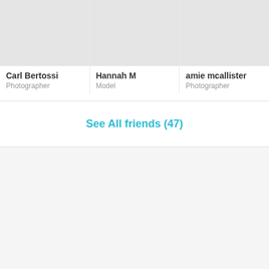[Figure (photo): Grey placeholder photo for Carl Bertossi]
Carl Bertossi
Photographer
[Figure (photo): Grey placeholder photo for Hannah M]
Hannah M
Model
[Figure (photo): Grey placeholder photo for amie mcallister]
amie mcallister
Photographer
See All friends (47)